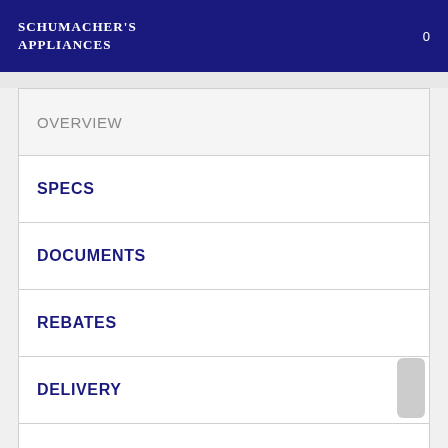Schumacher's Appliances
OVERVIEW
SPECS
DOCUMENTS
REBATES
DELIVERY
WARRANTY
REVIEWS (178)